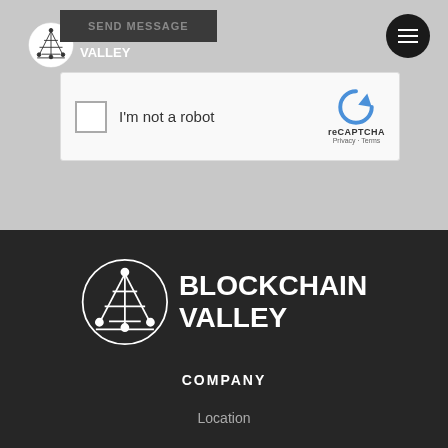[Figure (logo): Blockchain Valley logo small with icon circle]
[Figure (screenshot): SEND MESSAGE button dark background]
[Figure (screenshot): reCAPTCHA I'm not a robot checkbox widget]
[Figure (logo): Blockchain Valley large white logo on dark footer]
COMPANY
Location